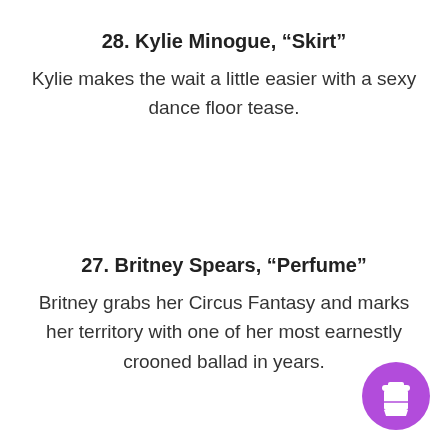28. Kylie Minogue, “Skirt”
Kylie makes the wait a little easier with a sexy dance floor tease.
27. Britney Spears, “Perfume”
Britney grabs her Circus Fantasy and marks her territory with one of her most earnestly crooned ballad in years.
[Figure (illustration): Purple circle icon with a coffee cup/takeaway cup symbol in white]